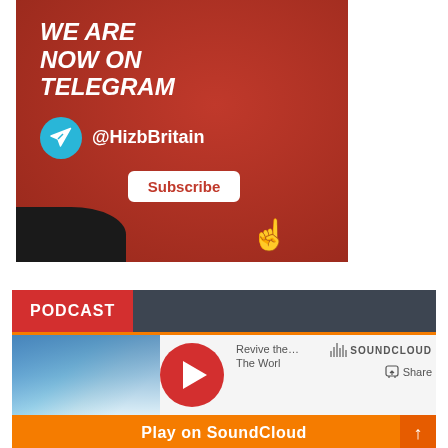[Figure (illustration): Red crumpled paper background banner promoting Telegram channel. White bold italic text reads 'WE ARE NOW ON TELEGRAM'. Blue circular Telegram icon with paper plane, handle '@HizbBritain', white Subscribe button, and white hand cursor icon. Dark blob in bottom left corner.]
PODCAST
[Figure (screenshot): SoundCloud embedded player widget. Shows thumbnail image on left, red play button, track title 'Revive the... The Worl', SoundCloud logo, Share button, and orange 'Play on SoundCloud' bar at bottom with arrow button.]